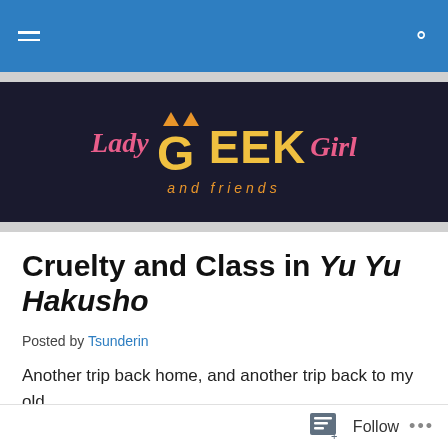Lady Geek Girl and friends — navigation bar
[Figure (logo): Lady Geek Girl and friends logo on dark navy background with stylized text and cat ears]
Cruelty and Class in Yu Yu Hakusho
Posted by Tsunderin
Another trip back home, and another trip back to my old manga collection. When it comes to situations like this, I
Follow